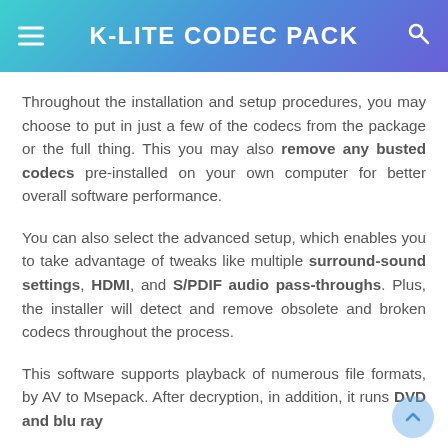K-LITE CODEC PACK
Throughout the installation and setup procedures, you may choose to put in just a few of the codecs from the package or the full thing. This you may also remove any busted codecs pre-installed on your own computer for better overall software performance.
You can also select the advanced setup, which enables you to take advantage of tweaks like multiple surround-sound settings, HDMI, and S/PDIF audio pass-throughs. Plus, the installer will detect and remove obsolete and broken codecs throughout the process.
This software supports playback of numerous file formats, by AV to Msepack. After decryption, in addition, it runs DVD and blu ray.